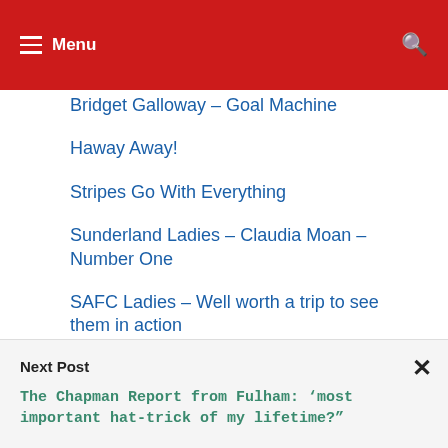Menu
Bridget Galloway – Goal Machine
Haway Away!
Stripes Go With Everything
Sunderland Ladies – Claudia Moan – Number One
SAFC Ladies – Well worth a trip to see them in action
Next Post
The Chapman Report from Fulham: 'most important hat-trick of my lifetime?"